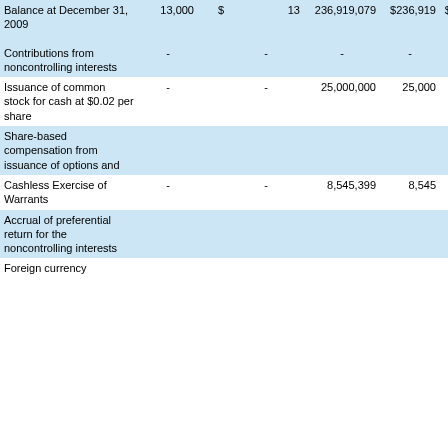|  | Preferred Shares | $ | Common Shares | $ | Additional Paid-in Capital | Accumulated Deficit |
| --- | --- | --- | --- | --- | --- | --- |
| Balance at December 31, 2009 | 13,000 | $ | 236,919,079 | $236,919 | $22,998,907 | $ (26,308,… |
| Contributions from noncontrolling interests | - | - | - | - | - |  |
| Issuance of common stock for cash at $0.02 per share | - | - | 25,000,000 | 25,000 | 475,000 |  |
| Share-based compensation from issuance of options and |  |  |  |  | 115,268 |  |
| Cashless Exercise of Warrants | - | - | 8,545,399 | 8,545 | (8,545) |  |
| Accrual of preferential return for the noncontrolling interests |  |  |  |  |  |  |
| Foreign currency |  |  |  |  |  |  |